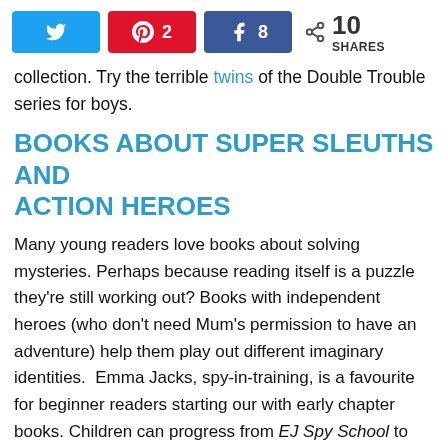[Figure (infographic): Social share bar with Twitter, Pinterest (2), Facebook (8) buttons and total 10 SHARES count]
collection. Try the terrible twins of the Double Trouble series for boys.
BOOKS ABOUT SUPER SLEUTHS AND ACTION HEROES
Many young readers love books about solving mysteries. Perhaps because reading itself is a puzzle they're still working out? Books with independent heroes (who don't need Mum's permission to have an adventure) help them play out different imaginary identities.  Emma Jacks, spy-in-training, is a favourite for beginner readers starting our with early chapter books. Children can progress from EJ Spy School to the more advanced EJ12 series as their reading improves.
[Figure (photo): Dark/black image strip at the bottom of the page]